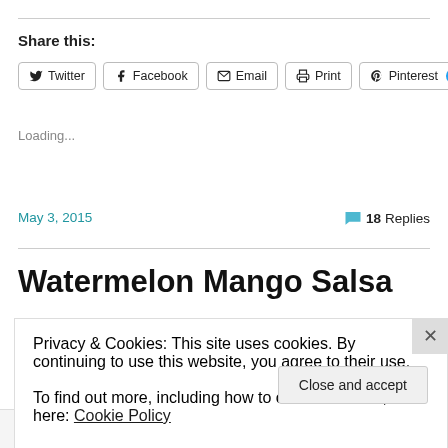Share this:
Twitter
Facebook
Email
Print
Pinterest 2
Loading...
May 3, 2015
18 Replies
Watermelon Mango Salsa
Privacy & Cookies: This site uses cookies. By continuing to use this website, you agree to their use.
To find out more, including how to control cookies, see here: Cookie Policy
Close and accept
Post on the go.